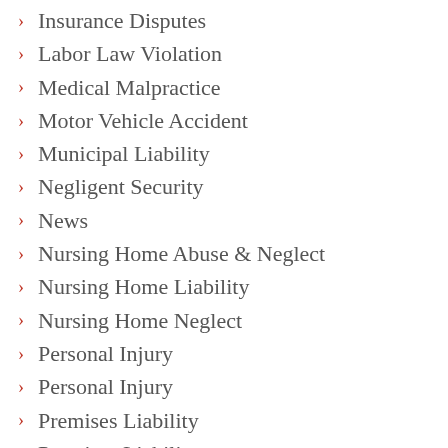Insurance Disputes
Labor Law Violation
Medical Malpractice
Motor Vehicle Accident
Municipal Liability
Negligent Security
News
Nursing Home Abuse & Neglect
Nursing Home Liability
Nursing Home Neglect
Personal Injury
Personal Injury
Premises Liability
Premises Liability